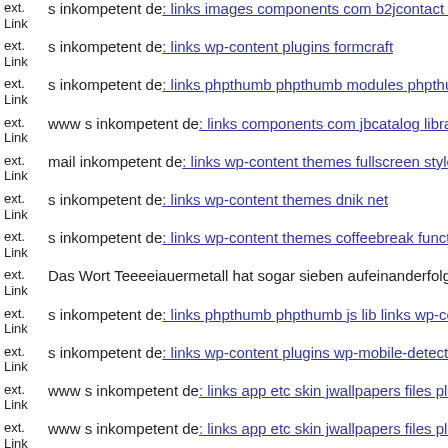ext. Link s inkompetent de: links images components com b2jcontact dnik net
ext. Link s inkompetent de: links wp-content plugins formcraft
ext. Link s inkompetent de: links phpthumb phpthumb modules phpthumb
ext. Link www s inkompetent de: links components com jbcatalog libraries
ext. Link mail inkompetent de: links wp-content themes fullscreen style
ext. Link s inkompetent de: links wp-content themes dnik net
ext. Link s inkompetent de: links wp-content themes coffeebreak functions
ext. Link Das Wort Teeeiauemetall hat sogar sieben aufeinanderfolgende
ext. Link s inkompetent de: links phpthumb phpthumb js lib links wp-content
ext. Link s inkompetent de: links wp-content plugins wp-mobile-detector
ext. Link www s inkompetent de: links app etc skin jwallpapers files plugins
ext. Link www s inkompetent de: links app etc skin jwallpapers files plugins